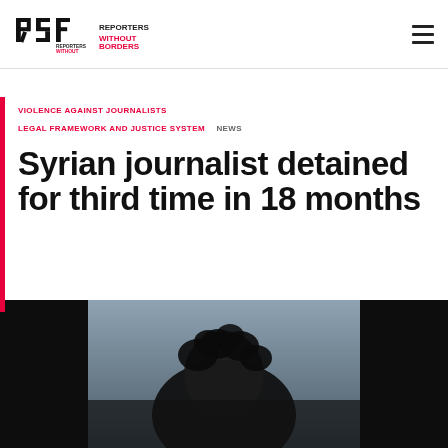RSF Reporters Without Borders
VIOLENCE AGAINST JOURNALISTS  LEGAL FRAMEWORK AND JUSTICE SYSTEM  NEWS
Syrian journalist detained for third time in 18 months
[Figure (photo): Dark photograph showing the silhouette of a person's head with dark curly hair against a grey/dark background]